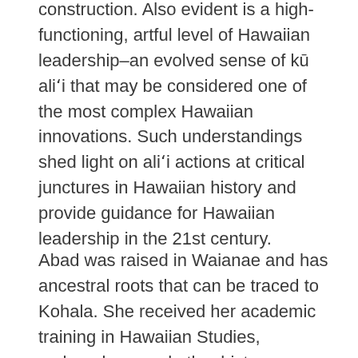construction. Also evident is a high-functioning, artful level of Hawaiian leadership–an evolved sense of kū ali'i that may be considered one of the most complex Hawaiian innovations. Such understandings shed light on ali'i actions at critical junctures in Hawaiian history and provide guidance for Hawaiian leadership in the 21st century.
Abad was raised in Waianae and has ancestral roots that can be traced to Kohala. She received her academic training in Hawaiian Studies, archaeology, and ethnohistory, completing her doctoral studies at the Universityof Hawai'i at